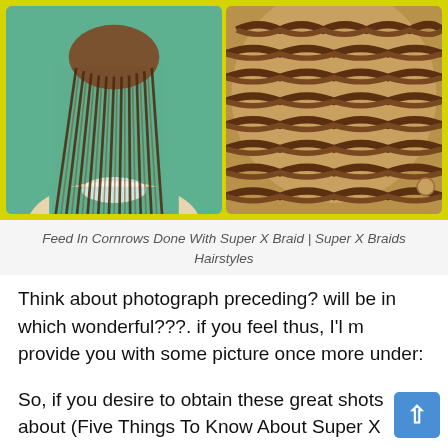[Figure (photo): Two-photo collage with yellow border: left shows a person from behind with long thin box/feed-in cornrow braids on a green background; right shows a close-up of cornrow braid patterns on the scalp.]
Feed In Cornrows Done With Super X Braid | Super X Braids Hairstyles
Think about photograph preceding? will be in which wonderful???. if you feel thus, I'l m provide you with some picture once more under:
So, if you desire to obtain these great shots about (Five Things To Know About Super X Braids